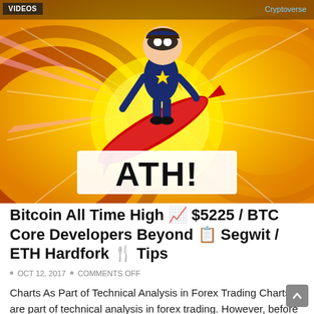VIDEOS  Cryptoverse
[Figure (illustration): Cartoon superhero character in dark costume with cape riding a rocket/skateboard on a yellow starburst background with text 'ATH!' in large white letters]
Bitcoin All Time High 📈 $5225 / BTC Core Developers Beyond 📋 Segwit / ETH Hardfork 🍴 Tips
OCT 12, 2017  •  COMMENTS OFF
Charts As Part of Technical Analysis in Forex Trading Charts are part of technical analysis in forex trading. However, before proceeding, we must the different charts that is available in...